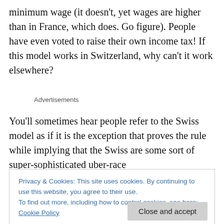minimum wage (it doesn't, yet wages are higher than in France, which does. Go figure). People have even voted to raise their own income tax! If this model works in Switzerland, why can't it work elsewhere?
Advertisements
You'll sometimes hear people refer to the Swiss model as if it is the exception that proves the rule while implying that the Swiss are some sort of super-sophisticated uber-race
Privacy & Cookies: This site uses cookies. By continuing to use this website, you agree to their use.
To find out more, including how to control cookies, see here: Cookie Policy